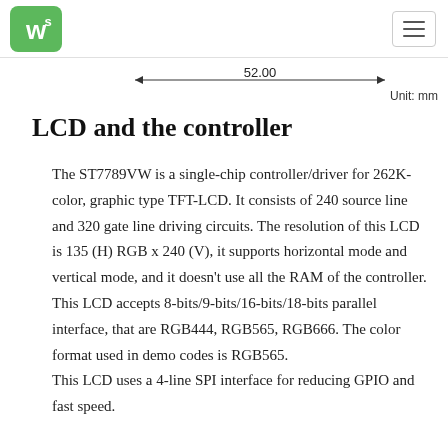Waveshare logo and navigation menu
[Figure (schematic): Dimension line showing 52.00 mm width with arrows, labeled Unit: mm]
LCD and the controller
The ST7789VW is a single-chip controller/driver for 262K-color, graphic type TFT-LCD. It consists of 240 source line and 320 gate line driving circuits. The resolution of this LCD is 135 (H) RGB x 240 (V), it supports horizontal mode and vertical mode, and it doesn't use all the RAM of the controller. This LCD accepts 8-bits/9-bits/16-bits/18-bits parallel interface, that are RGB444, RGB565, RGB666. The color format used in demo codes is RGB565. This LCD uses a 4-line SPI interface for reducing GPIO and fast speed.